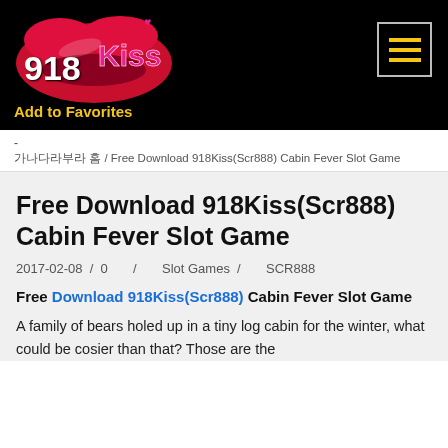[Figure (logo): 918Kiss logo with red lips graphic and stylized text on black background]
Add to Favorites
- 
한국어웹사이트 홈 / Free Download 918Kiss(Scr888) Cabin Fever Slot Game
Free Download 918Kiss(Scr888) Cabin Fever Slot Game
2017-02-08 / 0 / Slot Games / SCR888
Free Download 918Kiss(Scr888) Cabin Fever Slot Game
A family of bears holed up in a tiny log cabin for the winter, what could be cosier than that? Those are the